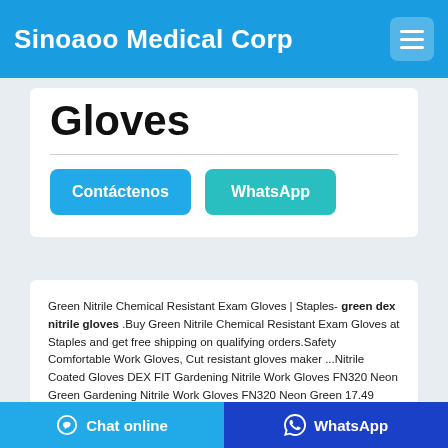Sinoaoo Medical Corp
Gloves
Contáctenos   WhatsApp
Green Nitrile Chemical Resistant Exam Gloves | Staples- green dex nitrile gloves .Buy Green Nitrile Chemical Resistant Exam Gloves at Staples and get free shipping on qualifying orders.Safety Comfortable Work Gloves, Cut resistant gloves maker ...Nitrile Coated Gloves DEX FIT Gardening Nitrile Work Gloves FN320 Neon Green Gardening Nitrile Work Gloves FN320 Neon Green 17.49
Chat online   WhatsApp